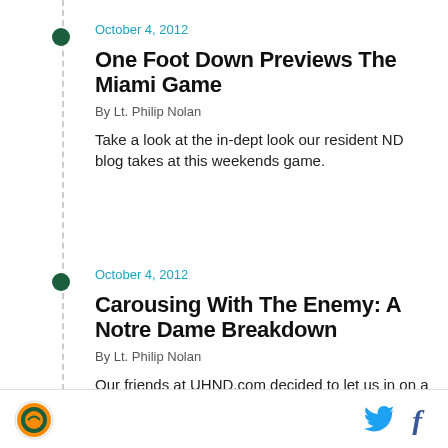October 4, 2012
One Foot Down Previews The Miami Game
By Lt. Philip Nolan
Take a look at the in-dept look our resident ND blog takes at this weekends game.
October 4, 2012
Carousing With The Enemy: A Notre Dame Breakdown
By Lt. Philip Nolan
Our friends at UHND.com decided to let us in on a few of the ND secrets ahead of this weekend's
[Figure (logo): Circular logo with orange and green colors]
[Figure (other): Twitter bird icon and Facebook f icon in footer]